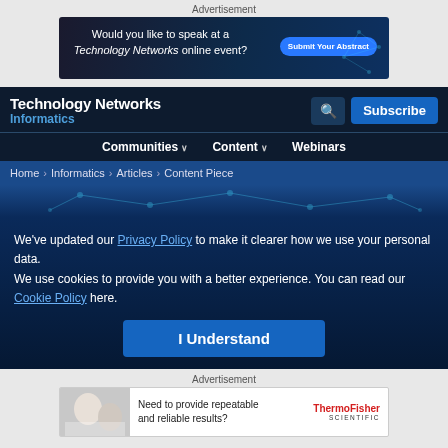Advertisement
[Figure (illustration): Technology Networks online event advertisement banner. Dark blue background with network visualization. Text: 'Would you like to speak at a Technology Networks online event?' with blue 'Submit Your Abstract' button.]
Technology Networks Informatics
Communities ∨  Content ∨  Webinars
Home › Informatics › Articles › Content Piece
We've updated our Privacy Policy to make it clearer how we use your personal data.
We use cookies to provide you with a better experience. You can read our Cookie Policy here.
I Understand
Advertisement
[Figure (illustration): Thermo Fisher Scientific advertisement. Shows lab workers. Text: 'Need to provide repeatable and reliable results?' with Thermo Fisher Scientific logo.]